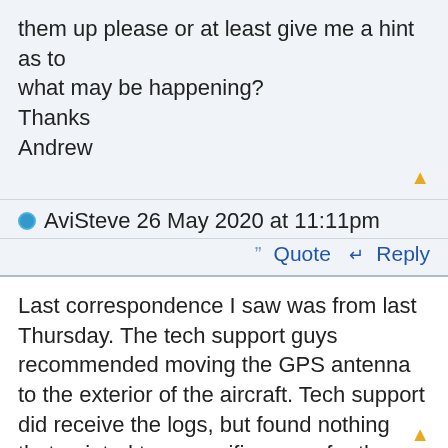them up please or at least give me a hint as to what may be happening?
Thanks
Andrew
AviSteve 26 May 2020 at 11:11pm
Quote  Reply
Last correspondence I saw was from last Thursday.  The tech support guys recommended moving the GPS antenna to the exterior of the aircraft.  Tech support did receive the logs, but found nothing that pointed to a specific cause for the behavior.  I'm not sure what correspondence tech support has had with your shop since then.
aoffen 26 May 2020 at 11:45pm